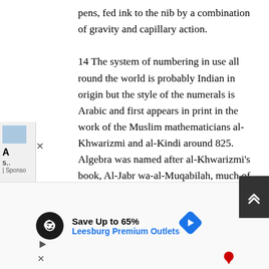pens, fed ink to the nib by a combination of gravity and capillary action. 14 The system of numbering in use all round the world is probably Indian in origin but the style of the numerals is Arabic and first appears in print in the work of the Muslim mathematicians al-Khwarizmi and al-Kindi around 825. Algebra was named after al-Khwarizmi's book, Al-Jabr wa-al-Muqabilah, much of whose contents are still in use. The
[Figure (screenshot): Advertisement overlay for Leesburg Premium Outlets: Save Up to 65%, with circular logo icon, blue text link, and navigation arrow icon]